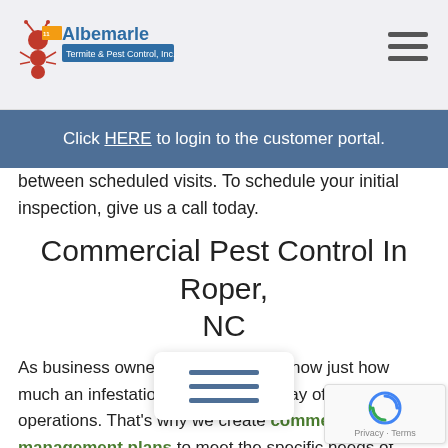[Figure (logo): Albemarle Termite & Pest Control, Inc. logo with ant mascot]
Click HERE to login to the customer portal.
between scheduled visits. To schedule your initial inspection, give us a call today.
Commercial Pest Control In Roper, NC
As business owners ourselves, we know just how much an infestation can get in the way of your daily operations. That’s why we create commercial pest management plans to meet the specific needs of each business that we serve. We begin with a detailed inspection of your property to determine any